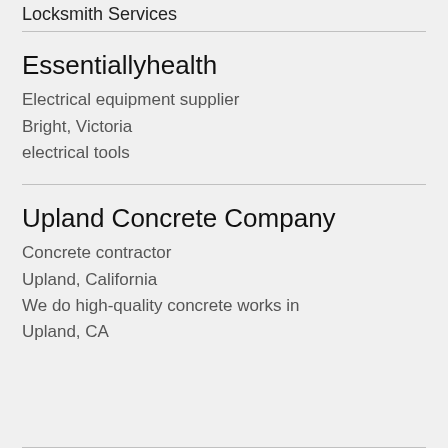Locksmith Services
Essentiallyhealth
Electrical equipment supplier
Bright, Victoria
electrical tools
Upland Concrete Company
Concrete contractor
Upland, California
We do high-quality concrete works in Upland, CA